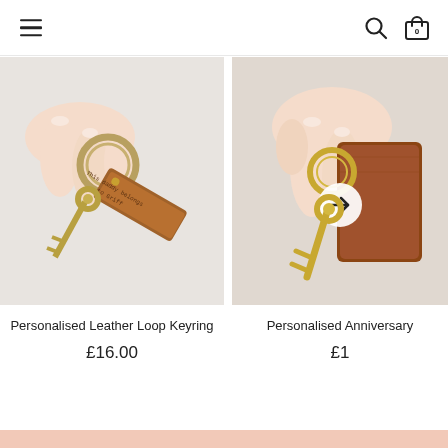Navigation header with hamburger menu, search icon, and cart icon (0 items)
[Figure (photo): Close-up of a hand holding a tan leather loop keyring with brass hardware, stamped with the text 'This daddy belongs to Griff' on the leather tab, with a brass key attached.]
Personalised Leather Loop Keyring
£16.00
[Figure (photo): Close-up of a hand holding a tan leather keyring with a brass key attached, with a circular arrow navigation button overlay on the image.]
Personalised Anniversary
£1